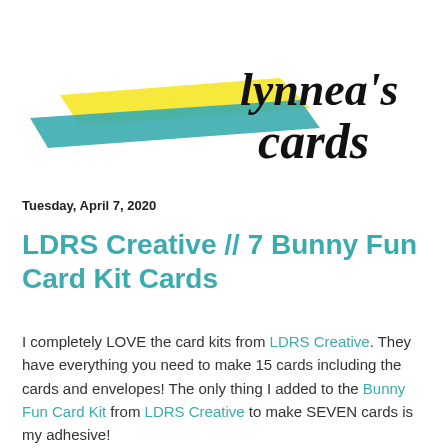[Figure (logo): Lynnea's Cards blog logo with yellow and teal diagonal brush strokes and handwritten script text reading 'lynnea's cards']
Tuesday, April 7, 2020
LDRS Creative // 7 Bunny Fun Card Kit Cards
I completely LOVE the card kits from LDRS Creative. They have everything you need to make 15 cards including the cards and envelopes! The only thing I added to the Bunny Fun Card Kit from LDRS Creative to make SEVEN cards is my adhesive!